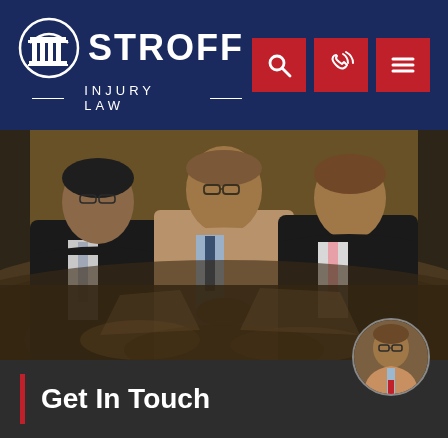[Figure (logo): Stroff Injury Law logo with column icon, white text on dark navy blue header background, with three red navigation icon buttons (search, phone, menu)]
[Figure (photo): Three men in suits sitting at an ornate table, professional law firm photo]
Get In Touch